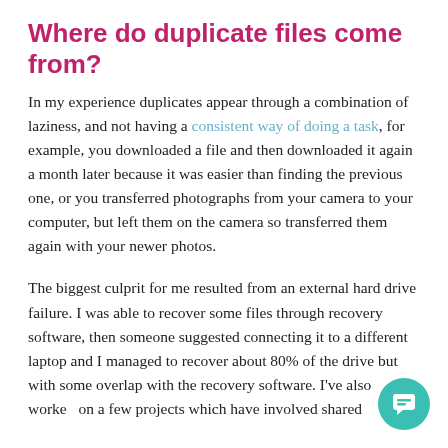Where do duplicate files come from?
In my experience duplicates appear through a combination of laziness, and not having a consistent way of doing a task, for example, you downloaded a file and then downloaded it again a month later because it was easier than finding the previous one, or you transferred photographs from your camera to your computer, but left them on the camera so transferred them again with your newer photos.
The biggest culprit for me resulted from an external hard drive failure. I was able to recover some files through recovery software, then someone suggested connecting it to a different laptop and I managed to recover about 80% of the drive but with some overlap with the recovery software. I've also worked on a few projects which have involved shared